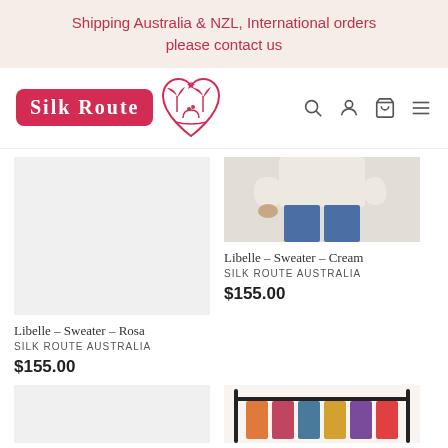Shipping Australia & NZL, International orders please contact us
[Figure (logo): Silk Route Australia logo with text 'Silk Route' in white on red background and pink heart/diamond shape with camel and palm tree icon]
Libelle – Sweater – Cream
SILK ROUTE AUSTRALIA
$155.00
Libelle – Sweater – Rosa
SILK ROUTE AUSTRALIA
$155.00